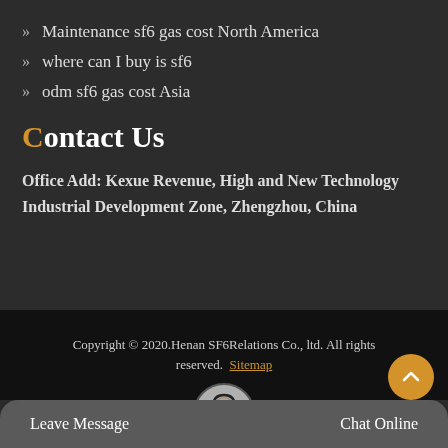Maintenance sf6 gas cost North America
where can I buy is sf6
odm sf6 gas cost Asia
Contact Us
Office Add: Kexue Revenue, High and New Technology Industrial Development Zone, Zhengzhou, China
Copyright © 2020.Henan SF6Relations Co., ltd. All rights reserved. Sitemap
Leave Message
Chat Online